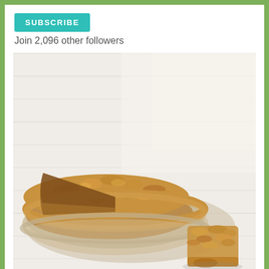SUBSCRIBE
Join 2,096 other followers
[Figure (photo): A crumble-topped apple pie with a slice removed, and a piece of the crumble topping in the foreground, on a white wooden surface background.]